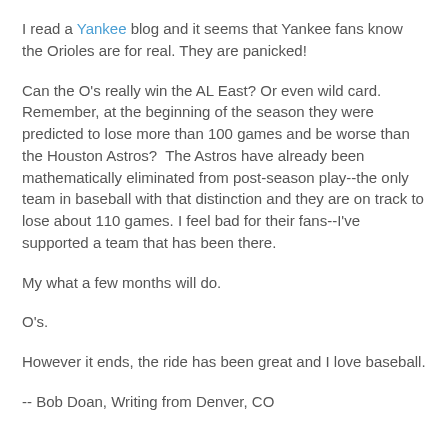I read a Yankee blog and it seems that Yankee fans know the Orioles are for real. They are panicked!
Can the O's really win the AL East? Or even wild card. Remember, at the beginning of the season they were predicted to lose more than 100 games and be worse than the Houston Astros?  The Astros have already been mathematically eliminated from post-season play--the only team in baseball with that distinction and they are on track to lose about 110 games. I feel bad for their fans--I've supported a team that has been there.
My what a few months will do.
O's.
However it ends, the ride has been great and I love baseball.
-- Bob Doan, Writing from Denver, CO